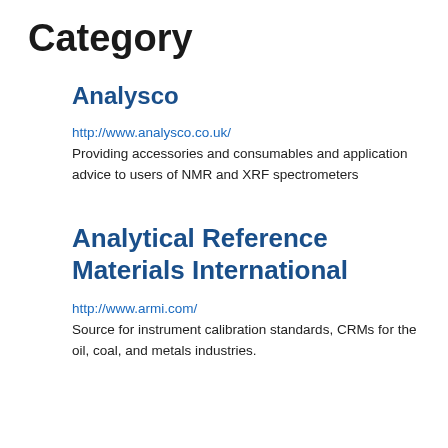Category
Analysco
http://www.analysco.co.uk/
Providing accessories and consumables and application advice to users of NMR and XRF spectrometers
Analytical Reference Materials International
http://www.armi.com/
Source for instrument calibration standards, CRMs for the oil, coal, and metals industries.